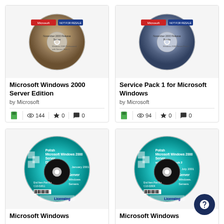[Figure (photo): Microsoft Windows 2000 Server Edition CD disc image]
Microsoft Windows 2000 Server Edition
by Microsoft
144 views, 0 favorites, 0 comments
[Figure (photo): Service Pack 1 for Microsoft Windows CD disc image]
Service Pack 1 for Microsoft Windows
by Microsoft
94 views, 0 favorites, 0 comments
[Figure (photo): Microsoft Windows 2000 Server Polish Disc 1 of 2 January 2001 CD]
Microsoft Windows
[Figure (photo): Microsoft Windows 2000 Server with Service Pack 2 Polish Disc 1 of 2 July 2001 CD]
Microsoft Windows